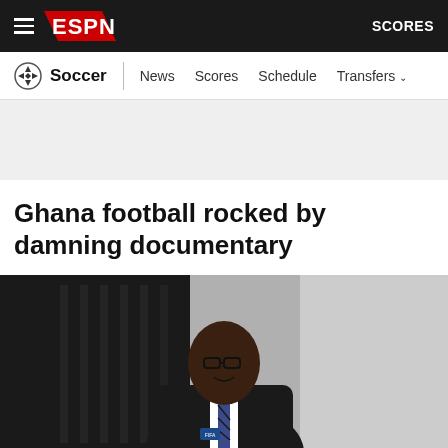ESPN Soccer - News Scores Schedule Transfers | SCORES
Ghana football rocked by damning documentary
[Figure (photo): A man in a dark suit with FIFA badge, wearing glasses, smiling, photographed against a blurred light background with dark elements on the left side.]